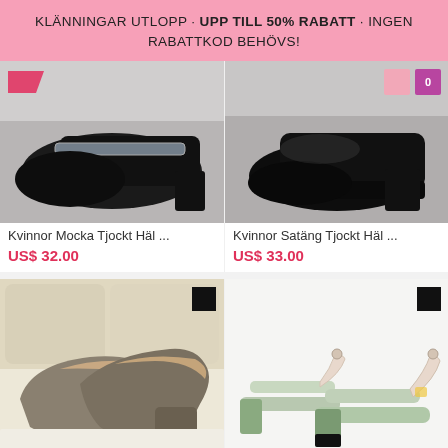KLÄNNINGAR UTLOPP · UPP TILL 50% RABATT · INGEN RABATTKOD BEHÖVS!
[Figure (photo): Black suede thick heel women's shoe - top view cropped]
Kvinnor Mocka Tjockt Häl ...
US$ 32.00
[Figure (photo): Black satin thick heel women's shoe - top view cropped]
Kvinnor Satäng Tjockt Häl ...
US$ 33.00
[Figure (photo): Gray suede pointed-toe block heel women's pumps on white surface]
Kvinnor Mocka Tjockt Häl ...
[Figure (photo): Mint green PU block heel sandals with ankle strap]
Kvinnor PU Tjockt Häl San...